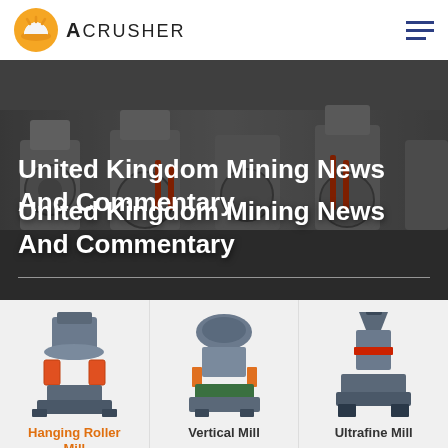ACRUSHER
[Figure (photo): Industrial mining machinery (grinding mills) in a factory setting, used as hero banner background]
United Kingdom Mining News And Commentary
[Figure (photo): Hanging Roller Mill machine image]
[Figure (photo): Vertical Mill machine image]
[Figure (photo): Ultrafine Mill machine image]
Hanging Roller Mill
Vertical Mill
Ultrafine Mill